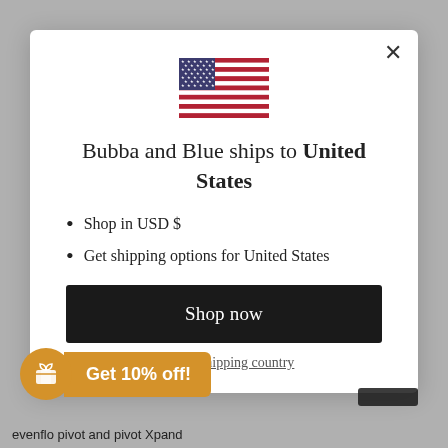[Figure (illustration): US flag icon centered at top of modal]
Bubba and Blue ships to United States
Shop in USD $
Get shipping options for United States
Shop now
Change shipping country
Get 10% off!
evenflo pivot  and pivot Xpand